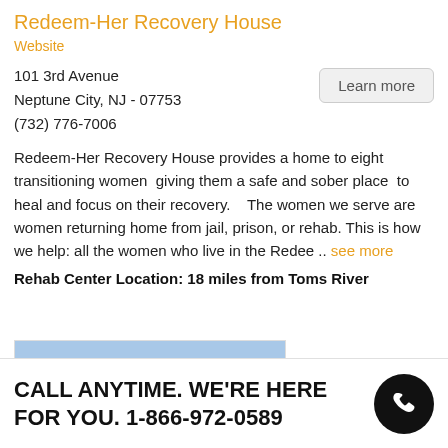Redeem-Her Recovery House
Website
101 3rd Avenue
Neptune City, NJ - 07753
(732) 776-7006
Redeem-Her Recovery House provides a home to eight transitioning women  giving them a safe and sober place  to heal and focus on their recovery.    The women we serve are women returning home from jail, prison, or rehab. This is how we help: all the women who live in the Redee .. see more
Rehab Center Location: 18 miles from Toms River
[Figure (photo): Exterior photo of a building with curved roof architecture and 'DISCOVERY' text visible, against a blue sky]
CALL ANYTIME. WE'RE HERE FOR YOU. 1-866-972-0589